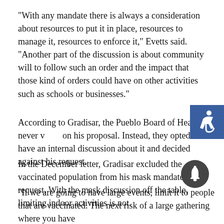"With any mandate there is always a consideration about resources to put it in place, resources to manage it, resources to enforce it," Evetts said. "Another part of the discussion is about community will to follow such an order and the impact that those kind of orders could have on other activities such as schools or businesses."
According to Gradisar, the Pueblo Board of Health never voted on his proposal. Instead, they opted to have an internal discussion about it and decided against his request.
In the December letter, Gradisar excluded the vaccinated population from his mask mandate request. With the mask discussion off the table, limiting indoor activities is not.
"If we are going to have large events, limit it to people that are vaccinated. The next risk of a large gathering where you have...